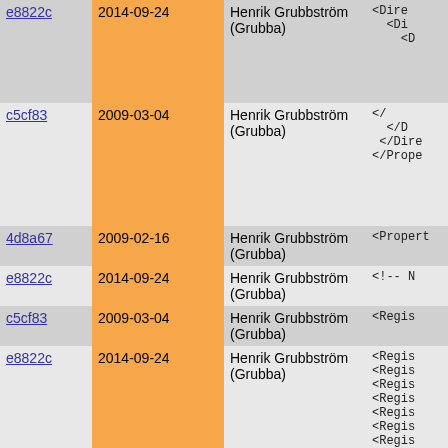| commit | date | author | code |
| --- | --- | --- | --- |
| e8822c | 2014-09-24 | Henrik Grubbström (Grubba) | <DirectoryIndex...
<Di...
<D... |
| c5cf83 | 2009-03-04 | Henrik Grubbström (Grubba) | </...
</D...
</Dire...
</Prope... |
| 4d8a67 | 2009-02-16 | Henrik Grubbström (Grubba) | <Propert... |
| e8822c | 2014-09-24 | Henrik Grubbström (Grubba) | <!-- N... |
| c5cf83 | 2009-03-04 | Henrik Grubbström (Grubba) | <Regis... |
| e8822c | 2014-09-24 | Henrik Grubbström (Grubba) | <Regis...
<Regis...
<Regis...
<Regis...
<Regis...
<Regis...
<Regis...
<Regis...
<Regis... |
| 447459 | 2009-02-16 | Henrik Grubbström (Grubba) | </Prope... |
| 58e771 | 2009-02-17 | Henrik Grubbström (Grubba) | <Propert... |
| e8822c | 2014-09-24 | Henrik Grubbström (Grubba) | <!-- N... |
| aea1d9 | 2014-09-18 | Henrik Grubbström (Grubba) | <Direc... |